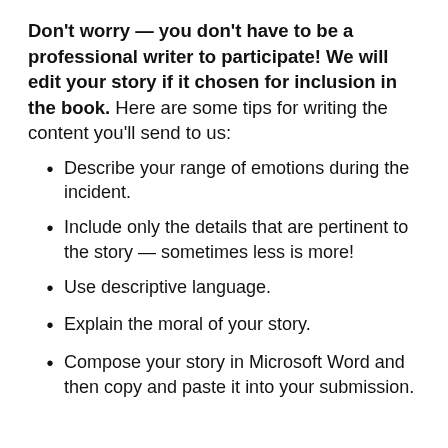Don't worry — you don't have to be a professional writer to participate! We will edit your story if it chosen for inclusion in the book. Here are some tips for writing the content you'll send to us:
Describe your range of emotions during the incident.
Include only the details that are pertinent to the story — sometimes less is more!
Use descriptive language.
Explain the moral of your story.
Compose your story in Microsoft Word and then copy and paste it into your submission.